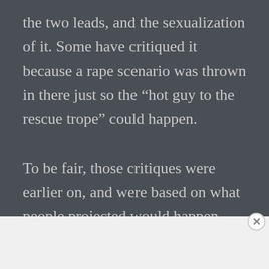the two leads, and the sexualization of it. Some have critiqued it because a rape scenario was thrown in there just so the “hot guy to the rescue trope” could happen.

To be fair, those critiques were earlier on, and were based on what people projected would happen, and I would
[Figure (other): Advertisement bar with WordPress VIP logo on the left and a colorful gradient banner ad with a 'Learn more' button on the right. An X close button appears at the top right of the ad bar.]